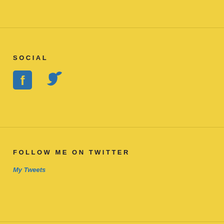SOCIAL
[Figure (illustration): Facebook and Twitter social media icons in blue]
FOLLOW ME ON TWITTER
My Tweets
CATEGORIES
Apprenticeships
Arbour Hill